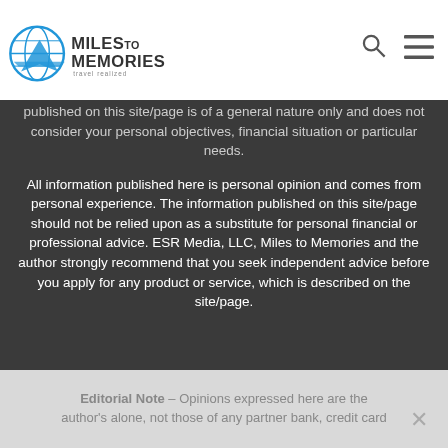Miles to Memories
published on this site/page is of a general nature only and does not consider your personal objectives, financial situation or particular needs.
All information published here is personal opinion and comes from personal experience. The information published on this site/page should not be relied upon as a substitute for personal financial or professional advice. ESR Media, LLC, Miles to Memories and the author strongly recommend that you seek independent advice before you apply for any product or service, which is described on the site/page.
Editorial Note – Opinions expressed here are the author's alone, not those of any partner bank, credit card